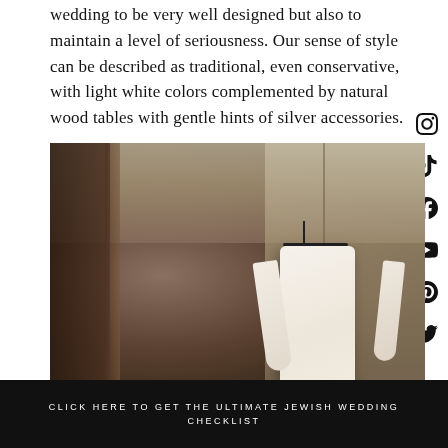wedding to be very well designed but also to maintain a level of seriousness. Our sense of style can be described as traditional, even conservative, with light white colors complemented by natural wood tables with gentle hints of silver accessories.
[Figure (photo): A white long-sleeve wedding dress hanging on a black hanger against a neutral hotel room background with beige walls and cabinetry.]
CLOSE
CLICK HERE TO GET THE ULTIMATE JEWISH WEDDING CHECKLIST